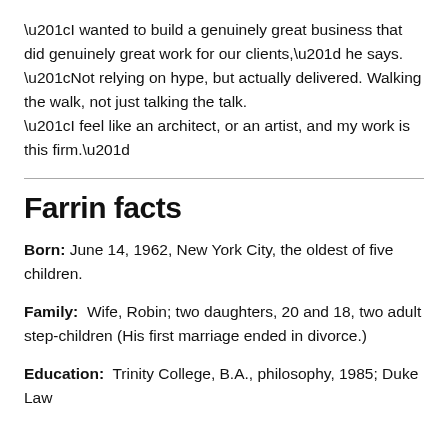“I wanted to build a genuinely great business that did genuinely great work for our clients,” he says. “Not relying on hype, but actually delivered. Walking the walk, not just talking the talk.
“I feel like an architect, or an artist, and my work is this firm.”
Farrin facts
Born: June 14, 1962, New York City, the oldest of five children.
Family: Wife, Robin; two daughters, 20 and 18, two adult step-children (His first marriage ended in divorce.)
Education: Trinity College, B.A., philosophy, 1985; Duke Law